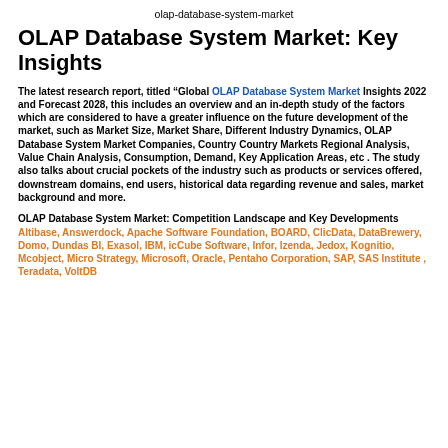olap-database-system-market
OLAP Database System Market: Key Insights
The latest research report, titled “Global OLAP Database System Market Insights 2022 and Forecast 2028, this includes an overview and an in-depth study of the factors which are considered to have a greater influence on the future development of the market, such as Market Size, Market Share, Different Industry Dynamics, OLAP Database System Market Companies, Country Country Markets Regional Analysis, Value Chain Analysis, Consumption, Demand, Key Application Areas, etc . The study also talks about crucial pockets of the industry such as products or services offered, downstream domains, end users, historical data regarding revenue and sales, market background and more.
OLAP Database System Market: Competition Landscape and Key Developments Altibase, Answerdock, Apache Software Foundation, BOARD, ClicData, DataBrewery, Domo, Dundas BI, Exasol, IBM, icCube Software, Infor, Izenda, Jedox, Kognitio, Mcobject, Micro Strategy, Microsoft, Oracle, Pentaho Corporation, SAP, SAS Institute , Teradata, VoltDB